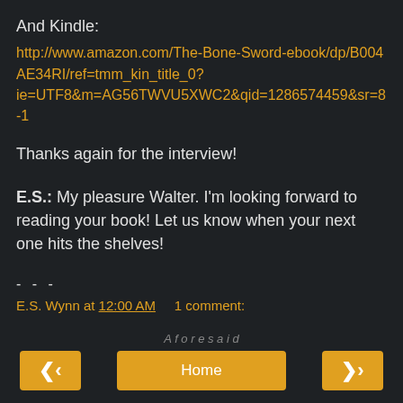And Kindle:
http://www.amazon.com/The-Bone-Sword-ebook/dp/B004AE34RI/ref=tmm_kin_title_0?ie=UTF8&m=AG56TWVU5XWC2&qid=1286574459&sr=8-1
Thanks again for the interview!
E.S.: My pleasure Walter. I'm looking forward to reading your book! Let us know when your next one hits the shelves!
- - -
E.S. Wynn at 12:00 AM    1 comment:
Home